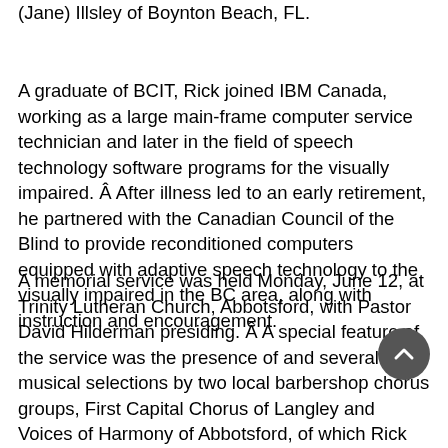(Jane) Illsley of Boynton Beach, FL.
A graduate of BCIT, Rick joined IBM Canada, working as a large main-frame computer service technician and later in the field of speech technology software programs for the visually impaired. Â After illness led to an early retirement, he partnered with the Canadian Council of the Blind to provide reconditioned computers equipped with adaptive speech technology to the visually impaired in the BC area, along with instruction and encouragement.
A memorial service was held Monday, June 12, at Trinity Lutheran Church, Abbotsford, with Pastor David Hilderman presiding. Â A special feature of the service was the presence of and several musical selections by two local barbershop chorus groups, First Capital Chorus of Langley and Voices of Harmony of Abbotsford, of which Rick was a